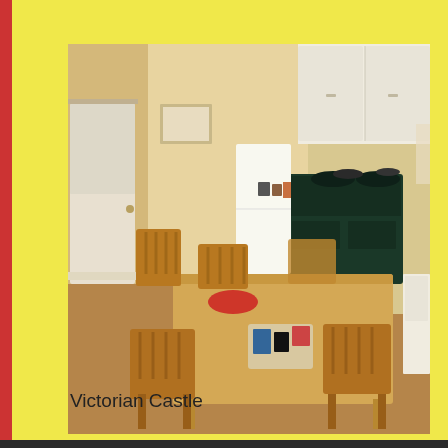[Figure (photo): Interior kitchen/dining room photo showing a large wooden farmhouse dining table with six wooden spindle-back chairs around it, red placemats on the table, items on a tray in the center. Background shows yellow walls, white cabinets, a large dark green AGA stove/range, cork or terracotta tile flooring, a small framed picture on the wall, and a door to the left.]
Victorian Castle